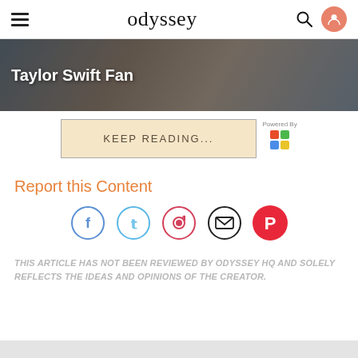odyssey
[Figure (photo): Banner image showing people with text 'Taylor Swift Fan' overlaid in white bold text on a dark overlay]
KEEP READING...
Powered By
Report this Content
[Figure (infographic): Social sharing icons row: Facebook (blue circle), Twitter (blue circle), Pinterest (red circle), Email (black circle), Flipboard (red circle)]
THIS ARTICLE HAS NOT BEEN REVIEWED BY ODYSSEY HQ AND SOLELY REFLECTS THE IDEAS AND OPINIONS OF THE CREATOR.